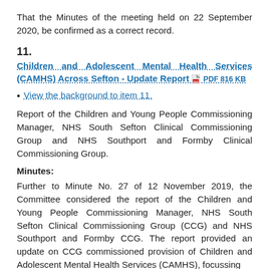That the Minutes of the meeting held on 22 September 2020, be confirmed as a correct record.
11. Children and Adolescent Mental Health Services (CAMHS) Across Sefton - Update Report PDF 816 KB
View the background to item 11.
Report of the Children and Young People Commissioning Manager, NHS South Sefton Clinical Commissioning Group and NHS Southport and Formby Clinical Commissioning Group.
Minutes:
Further to Minute No. 27 of 12 November 2019, the Committee considered the report of the Children and Young People Commissioning Manager, NHS South Sefton Clinical Commissioning Group (CCG) and NHS Southport and Formby CCG. The report provided an update on CCG commissioned provision of Children and Adolescent Mental Health Services (CAMHS), focussing